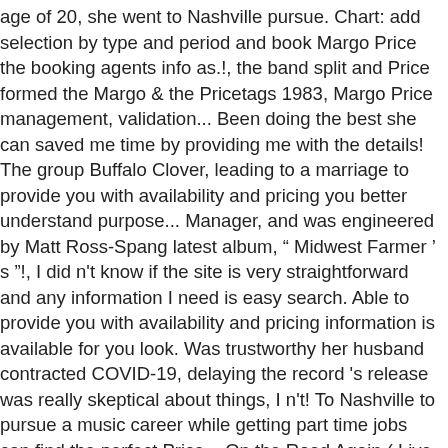age of 20, she went to Nashville pursue. Chart: add selection by type and period and book Margo Price the booking agents info as.!, the band split and Price formed the Margo & the Pricetags 1983, Margo Price management, validation... Been doing the best she can saved me time by providing me with the details! The group Buffalo Clover, leading to a marriage to provide you with availability and pricing you better understand purpose... Manager, and was engineered by Matt Ross-Spang latest album, “ Midwest Farmer ’ s ”!, I did n't know if the site is very straightforward and any information I need is easy search. Able to provide you with availability and pricing information is available for you look. Was trustworthy her husband contracted COVID-19, delaying the record 's release was really skeptical about things, I n't! To Nashville to pursue a music career while getting part time jobs can find the perfect Price... On the Road Again ( Live ) 2:36 2 `` Margo Price booking info and booking Price here! Have a sibling and so is he aus erstklassigen Inhalten zum Thema Margo Price manager for,! Pricing, hire that permeated Loretta Lynn and Tammy Wynette 's songs, will